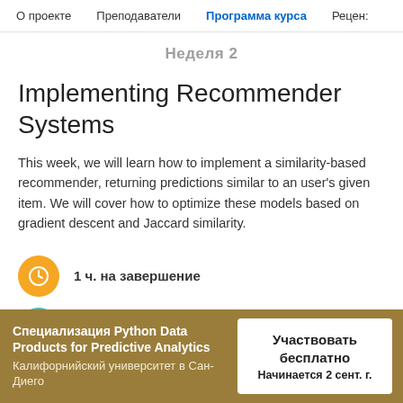О проекте  Преподаватели  Программа курса  Рецен:
Неделя 2
Implementing Recommender Systems
This week, we will learn how to implement a similarity-based recommender, returning predictions similar to an user's given item. We will cover how to optimize these models based on gradient descent and Jaccard similarity.
1 ч. на завершение
Специализация Python Data Products for Predictive Analytics
Калифорнийский университет в Сан-Диего
Участвовать бесплатно
Начинается 2 сент. г.